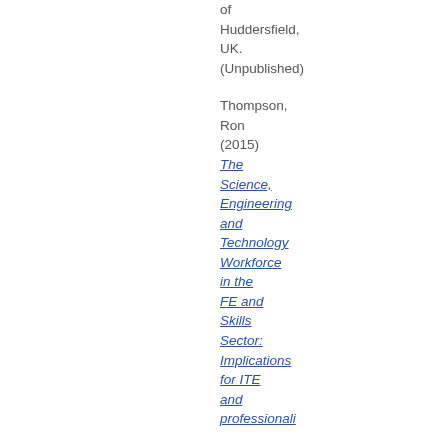of Huddersfield, UK. (Unpublished)
Thompson, Ron (2015) The Science, Engineering and Technology Workforce in the FE and Skills Sector: Implications for ITE and ...